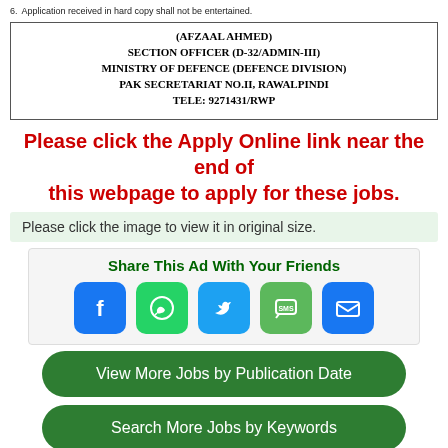6. Application received in hard copy shall not be entertained.
(AFZAAL AHMED)
SECTION OFFICER (D-32/ADMIN-III)
MINISTRY OF DEFENCE (DEFENCE DIVISION)
PAK SECRETARIAT NO.II, RAWALPINDI
TELE: 9271431/RWP
Please click the Apply Online link near the end of this webpage to apply for these jobs.
Please click the image to view it in original size.
Share This Ad With Your Friends
[Figure (infographic): Social share buttons: Facebook, WhatsApp, Twitter, SMS, Email]
View More Jobs by Publication Date
Search More Jobs by Keywords
Advertisement